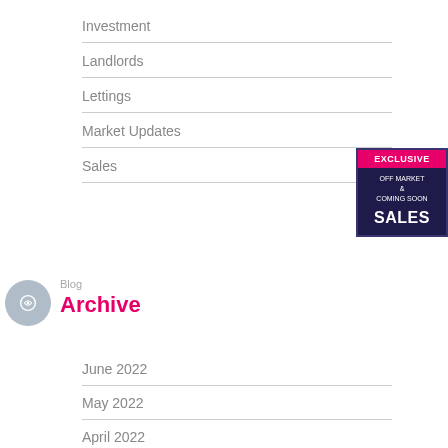Investment
Landlords
Lettings
Market Updates
Sales
[Figure (other): Dark navy box with pink 'EXCLUSIVE' banner at top, white text 'OFF MARKET & COMING SOON' in middle, and large white bold 'SALES' at bottom]
Blog
Archive
June 2022
May 2022
April 2022